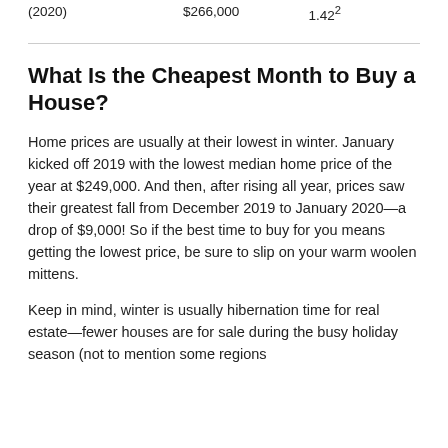| (2020) | $266,000 | 1.42² |
What Is the Cheapest Month to Buy a House?
Home prices are usually at their lowest in winter. January kicked off 2019 with the lowest median home price of the year at $249,000. And then, after rising all year, prices saw their greatest fall from December 2019 to January 2020—a drop of $9,000! So if the best time to buy for you means getting the lowest price, be sure to slip on your warm woolen mittens.
Keep in mind, winter is usually hibernation time for real estate—fewer houses are for sale during the busy holiday season (not to mention some regions